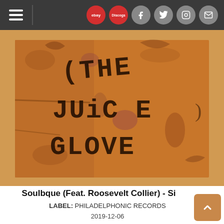Navigation bar with hamburger menu, eBay, Discogs, Facebook, Twitter, Instagram, Mail icons
[Figure (photo): Album cover for The Juice Glove — aged/distressed cardboard or paper with handwritten text reading 'THE JUiCE GLOVE' in black marker]
Soulbque (Feat. Roosevelt Collier) - Single
LABEL: PHILADELPHONIC RECORDS
2019-12-06